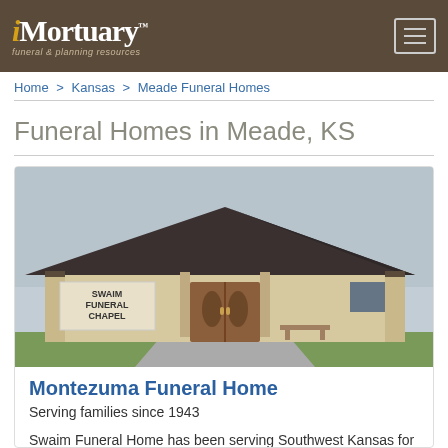iMortuary™ funeral & planning resources
Home > Kansas > Meade Funeral Homes
Funeral Homes in Meade, KS
[Figure (photo): Exterior photo of Swaim Funeral Chapel building with dark hip roof, tan stucco walls, wooden double front doors with oval glass inserts, and a sign reading 'Swaim Funeral Chapel']
Montezuma Funeral Home
Serving families since 1943
Swaim Funeral Home has been serving Southwest Kansas for over 70 years. We have locations in Dodge